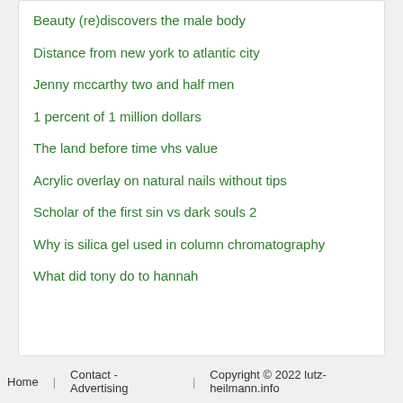Beauty (re)discovers the male body
Distance from new york to atlantic city
Jenny mccarthy two and half men
1 percent of 1 million dollars
The land before time vhs value
Acrylic overlay on natural nails without tips
Scholar of the first sin vs dark souls 2
Why is silica gel used in column chromatography
What did tony do to hannah
Home | Contact - Advertising | Copyright © 2022 lutz-heilmann.info